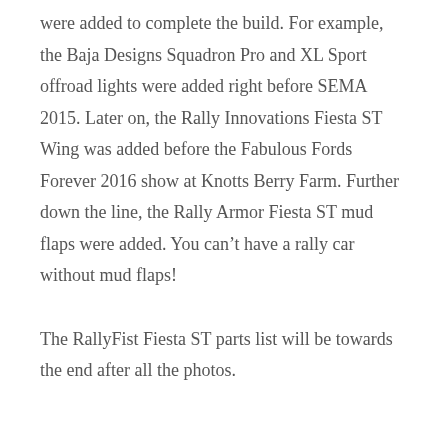were added to complete the build. For example, the Baja Designs Squadron Pro and XL Sport offroad lights were added right before SEMA 2015. Later on, the Rally Innovations Fiesta ST Wing was added before the Fabulous Fords Forever 2016 show at Knotts Berry Farm. Further down the line, the Rally Armor Fiesta ST mud flaps were added. You can't have a rally car without mud flaps!
The RallyFist Fiesta ST parts list will be towards the end after all the photos.